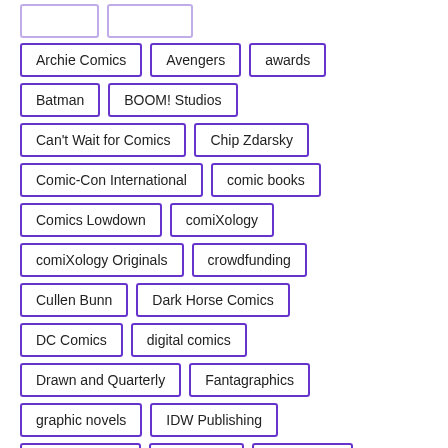Archie Comics
Avengers
awards
Batman
BOOM! Studios
Can't Wait for Comics
Chip Zdarsky
Comic-Con International
comic books
Comics Lowdown
comiXology
comiXology Originals
crowdfunding
Cullen Bunn
Dark Horse Comics
DC Comics
digital comics
Drawn and Quarterly
Fantagraphics
graphic novels
IDW Publishing
Image Comics
interviews
Jeff Lemire